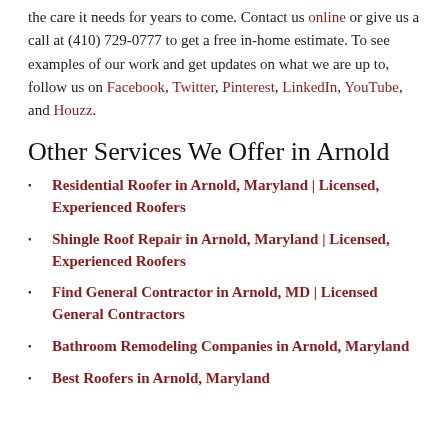the care it needs for years to come. Contact us online or give us a call at (410) 729-0777 to get a free in-home estimate. To see examples of our work and get updates on what we are up to, follow us on Facebook, Twitter, Pinterest, LinkedIn, YouTube, and Houzz.
Other Services We Offer in Arnold
Residential Roofer in Arnold, Maryland | Licensed, Experienced Roofers
Shingle Roof Repair in Arnold, Maryland | Licensed, Experienced Roofers
Find General Contractor in Arnold, MD | Licensed General Contractors
Bathroom Remodeling Companies in Arnold, Maryland
Best Roofers in Arnold, Maryland